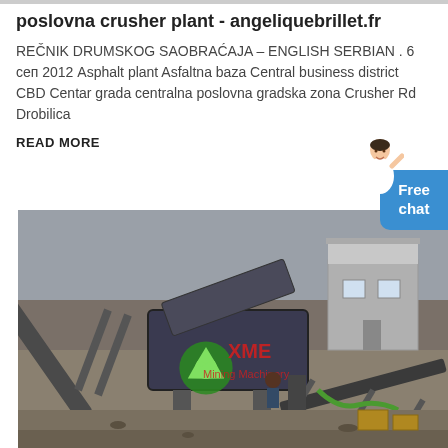poslovna crusher plant - angeliquebrillet.fr
REČNIK DRUMSKOG SAOBRAĆAJA – ENGLISH SERBIAN . 6 сеп 2012 Asphalt plant Asfaltna baza Central business district CBD Centar grada centralna poslovna gradska zona Crusher Rd Drobilica
READ MORE
[Figure (photo): Aerial view of a crusher plant facility with conveyor belts, heavy machinery, and a small building. XME Mining Machinery logo visible on equipment.]